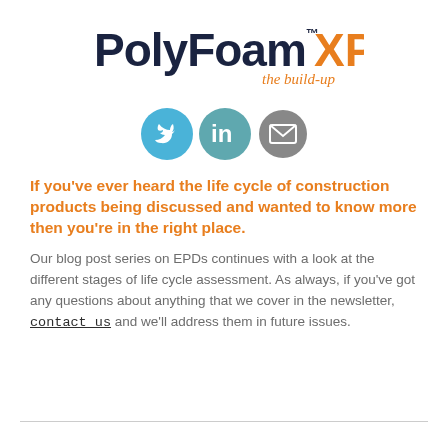[Figure (logo): PolyFoam XPS logo with tagline 'the build-up'. PolyFoam in dark navy, XPS in orange, tagline in orange italic below.]
[Figure (infographic): Three social media icon circles: Twitter (blue bird), LinkedIn (teal), and email/envelope (grey).]
If you've ever heard the life cycle of construction products being discussed and wanted to know more then you're in the right place.
Our blog post series on EPDs continues with a look at the different stages of life cycle assessment. As always, if you've got any questions about anything that we cover in the newsletter, contact us and we'll address them in future issues.